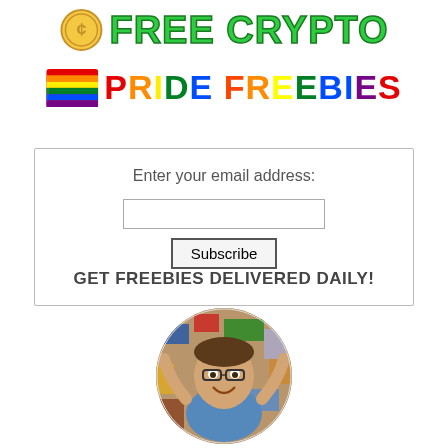[Figure (logo): FREE CRYPTO banner with coin icon and bold green text]
[Figure (logo): PRIDE FREEBIES banner with rainbow flag emoji and multicolor bold text]
Enter your email address:
Subscribe
GET FREEBIES DELIVERED DAILY!
[Figure (photo): Circular cropped photo of a man surrounded by many product packages and samples, smiling at the camera]